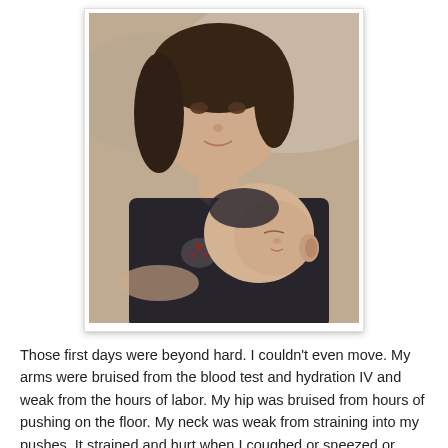[Figure (photo): A young woman smiling at the camera while holding a newborn baby close to her chest, appearing to breastfeed. The photo has a warm, slightly desaturated tone. The woman has dark hair and is lying down. The baby is wrapped in a dark blanket with a floral pattern.]
Those first days were beyond hard. I couldn't even move. My arms were bruised from the blood test and hydration IV and weak from the hours of labor. My hip was bruised from hours of pushing on the floor. My neck was weak from straining into my pushes. It strained and hurt when I coughed or sneezed or blew my nose. I could barely hold Little Fox to feed him. Aj had to help and she started to lay me on my arms for